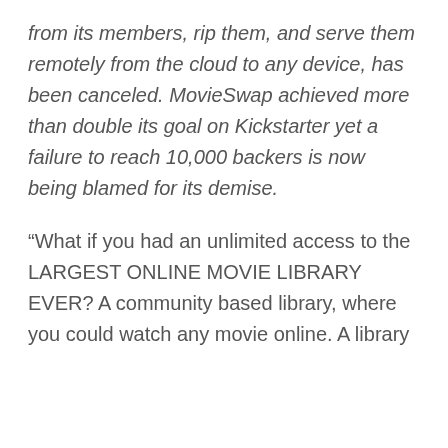from its members, rip them, and serve them remotely from the cloud to any device, has been canceled. MovieSwap achieved more than double its goal on Kickstarter yet a failure to reach 10,000 backers is now being blamed for its demise.
“What if you had an unlimited access to the LARGEST ONLINE MOVIE LIBRARY EVER? A community based library, where you could watch any movie online. A library